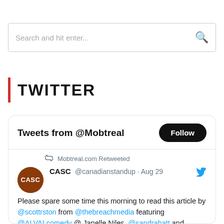[Figure (screenshot): Search bar with placeholder text 'Search and hit enter...' and a search icon on the right]
TWITTER
[Figure (screenshot): Twitter widget showing 'Tweets from @Mobtreal' header with Follow button, and a retweet by Mobtreal.com. Original tweet by CASC @canadianstandup · Aug 29 with blue Twitter bird icon. Tweet text: 'Please spare some time this morning to read this article by @scottrston from @thebreachmedia featuring @ALVALcomedy @ Janelle Niles, @sandrabatt and @MontymofoScott Scott. It’s time we must come together in solidarity to create change in Canada. #CASC buff.ly/3nSOn08']